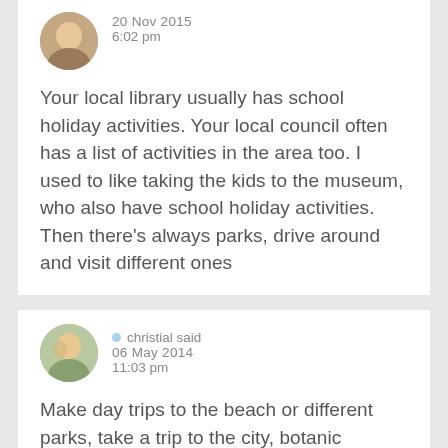[Figure (photo): Circular avatar photo of a person, partially cut off at top]
20 Nov 2015
6:02 pm
Your local library usually has school holiday activities. Your local council often has a list of activities in the area too. I used to like taking the kids to the museum, who also have school holiday activities. Then there's always parks, drive around and visit different ones
[Figure (photo): Circular avatar photo of a person]
christial said
06 May 2014
11:03 pm
Make day trips to the beach or different parks, take a trip to the city, botanic gardens etc.